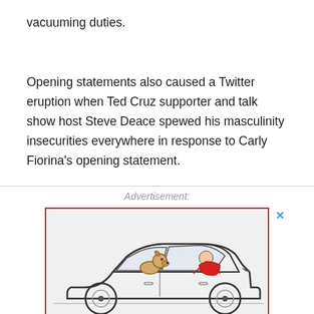vacuuming duties.
Opening statements also caused a Twitter eruption when Ted Cruz supporter and talk show host Steve Deace spewed his masculinity insecurities everywhere in response to Carly Fiorina's opening statement.
Advertisement:
[Figure (illustration): Line drawing cartoon of a classic car with a person driving and a dog in the back seat, framed with a red border. An 'x' close button appears at top right.]